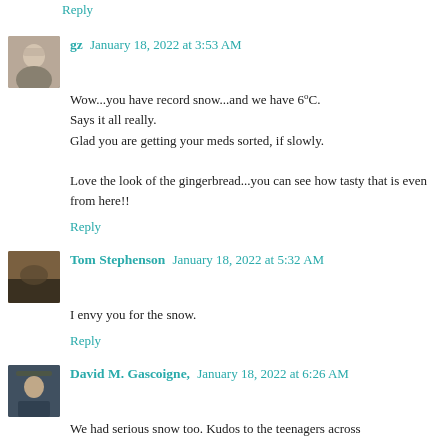Reply
gz  January 18, 2022 at 3:53 AM
Wow...you have record snow...and we have 6°C.
Says it all really.
Glad you are getting your meds sorted, if slowly.

Love the look of the gingerbread...you can see how tasty that is even from here!!
Reply
Tom Stephenson  January 18, 2022 at 5:32 AM
I envy you for the snow.
Reply
David M. Gascoigne,  January 18, 2022 at 6:26 AM
We had serious snow too. Kudos to the teenagers across...